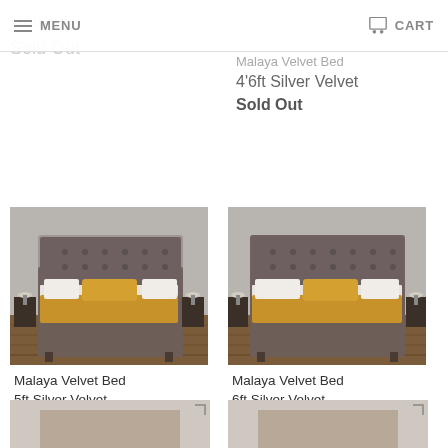MENU | CART
Malaya Velvet Bed 4'6ft Silver Velvet
Sold Out
Natural
Sold Out
[Figure (photo): Malaya Velvet Bed 5ft Silver Velvet - grey tufted headboard bed with mustard throw on wooden floor]
Malaya Velvet Bed 5ft Silver Velvet
Sold Out
[Figure (photo): Malaya Velvet Bed 6ft Silver Velvet - grey tufted headboard bed with mustard throw on wooden floor]
Malaya Velvet Bed 6ft Silver Velvet
Sold Out
[Figure (photo): Partial view of next product row - two bed images cropped at bottom]
[Figure (photo): Partial view of next product row - second bed image cropped at bottom]